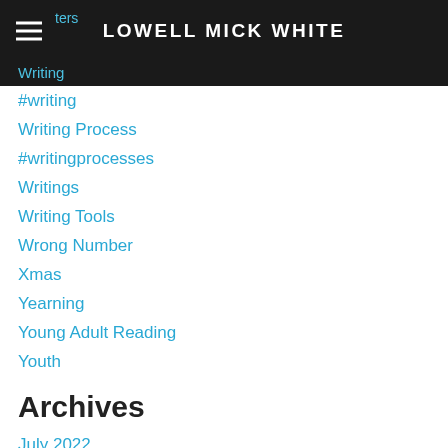LOWELL MICK WHITE
Writing
#writing
Writing Process
#writingprocesses
Writings
Writing Tools
Wrong Number
Xmas
Yearning
Young Adult Reading
Youth
Archives
July 2022
December 2021
November 2021